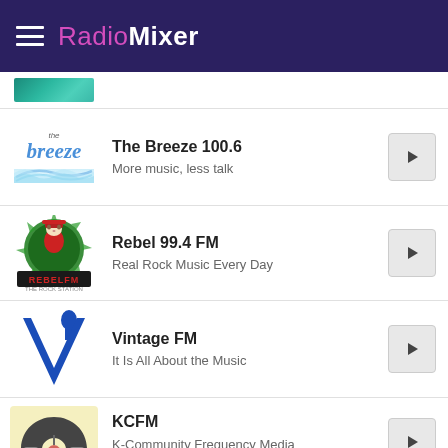RadioMixer
[Figure (screenshot): Partial station logo strip at top of content area]
The Breeze 100.6 — More music, less talk
Rebel 99.4 FM — Real Rock Music Every Day
Vintage FM — It Is All About the Music
KCFM — K-Community Frequency Media Network